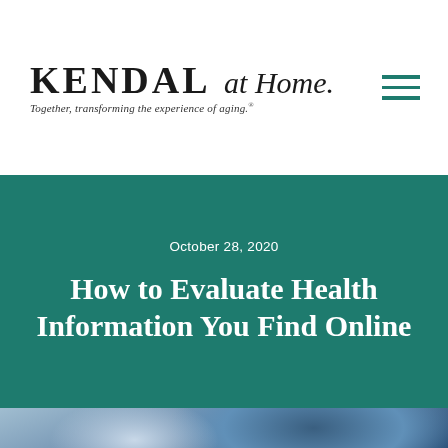[Figure (logo): Kendal at Home logo with tagline 'Together, transforming the experience of aging.']
October 28, 2020
How to Evaluate Health Information You Find Online
[Figure (photo): Blurred photo of a person, partially visible at the bottom of the page]